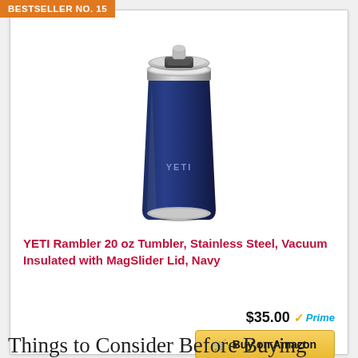BESTSELLER NO. 15
[Figure (photo): Photo of YETI Rambler 20 oz Tumbler in Navy color with MagSlider lid, stainless steel body with YETI logo, viewed from above at slight angle]
YETI Rambler 20 oz Tumbler, Stainless Steel, Vacuum Insulated with MagSlider Lid, Navy
$35.00 Prime
Buy on Amazon
Things to Consider Before Buying